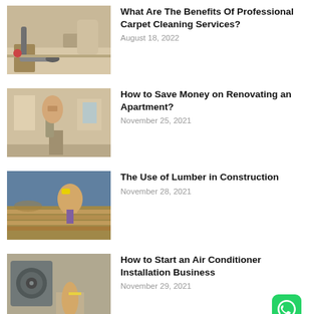[Figure (photo): Vacuum cleaner being used on carpet]
What Are The Benefits Of Professional Carpet Cleaning Services?
August 18, 2022
[Figure (photo): Person working on renovating an apartment interior]
How to Save Money on Renovating an Apartment?
November 25, 2021
[Figure (photo): Construction workers with lumber on a roof]
The Use of Lumber in Construction
November 28, 2021
[Figure (photo): Air conditioner unit with technician in yellow vest]
How to Start an Air Conditioner Installation Business
November 29, 2021
[Figure (logo): WhatsApp icon, green rounded square with phone symbol]